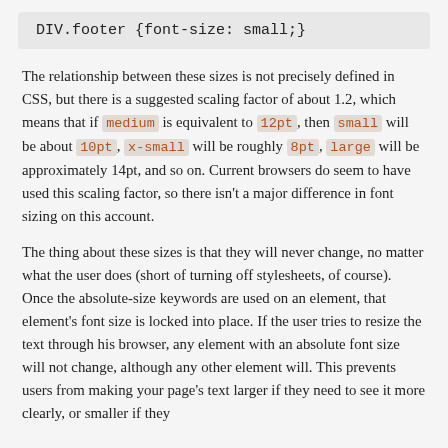DIV.footer {font-size: small;}
The relationship between these sizes is not precisely defined in CSS, but there is a suggested scaling factor of about 1.2, which means that if medium is equivalent to 12pt, then small will be about 10pt, x-small will be roughly 8pt, large will be approximately 14pt, and so on. Current browsers do seem to have used this scaling factor, so there isn't a major difference in font sizing on this account.
The thing about these sizes is that they will never change, no matter what the user does (short of turning off stylesheets, of course). Once the absolute-size keywords are used on an element, that element's font size is locked into place. If the user tries to resize the text through his browser, any element with an absolute font size will not change, although any other element will. This prevents users from making your page's text larger if they need to see it more clearly, or smaller if they think it is too big.